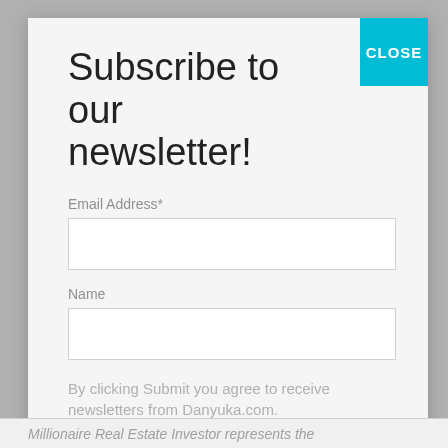Subscribe to our newsletter!
Email Address*
Name
By clicking Submit you agree to receive newsletters from Danyuka.com.
We promise we will not spam you!
Subscribe
Millionaire Real Estate Investor represents the